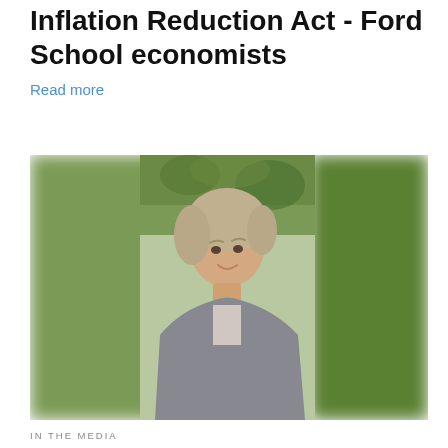Inflation Reduction Act - Ford School economists
Read more
[Figure (photo): A smiling woman with short blonde/grey hair wearing a grey cardigan, photographed outdoors in front of green foliage.]
IN THE MEDIA